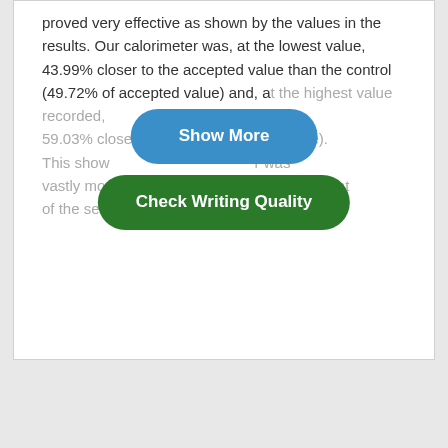proved very effective as shown by the values in the results. Our calorimeter was, at the lowest value, 43.99% closer to the accepted value than the control (49.72% of accepted value) and, at the highest value recorded, 59.03% closer (64.76% of accepted value). This shows that our calorimeter was vastly more accurate even in the least efficient of the seven tests